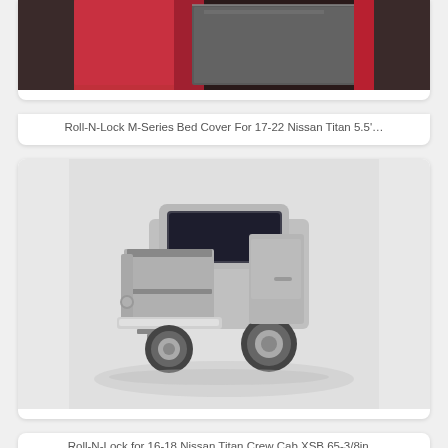[Figure (photo): Partial top view of a red truck with a Roll-N-Lock M-Series bed cover installed, cropped at top]
Roll-N-Lock M-Series Bed Cover For 17-22 Nissan Titan 5.5'…
[Figure (photo): Rear three-quarter view of a silver Nissan Titan crew cab truck with a Roll-N-Lock bed cover on a white/grey background]
Roll-N-Lock for 16-18 Nissan Titan Crew Cab XSB 65-3/8in…
[Figure (photo): Partial view of a yellow SUV/truck from behind, cropped at bottom of page]